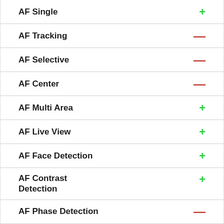AF Single +
AF Tracking −
AF Selective −
AF Center −
AF Multi Area +
AF Live View +
AF Face Detection +
AF Contrast Detection +
AF Phase Detection −